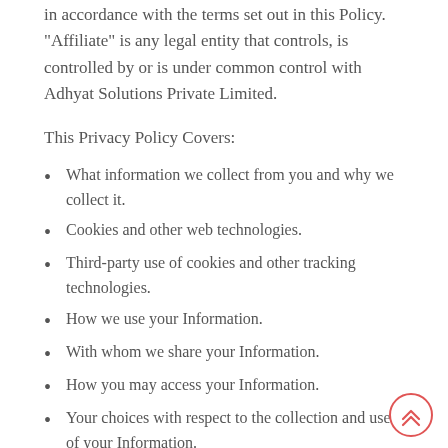in accordance with the terms set out in this Policy. "Affiliate" is any legal entity that controls, is controlled by or is under common control with Adhyat Solutions Private Limited.
This Privacy Policy Covers:
What information we collect from you and why we collect it.
Cookies and other web technologies.
Third-party use of cookies and other tracking technologies.
How we use your Information.
With whom we share your Information.
How you may access your Information.
Your choices with respect to the collection and use of your Information.